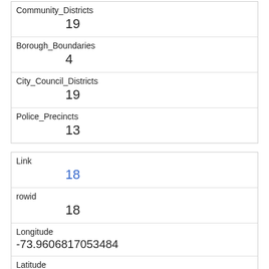| Community_Districts | 19 |
| Borough_Boundaries | 4 |
| City_Council_Districts | 19 |
| Police_Precincts | 13 |
| Link | 18 |
| rowid | 18 |
| Longitude | -73.9606817053484 |
| Latitude | 40.7917320450401 |
| Unique_Squirrel_ID | 32D-PM-1006-07 |
| Hectare | 32D |